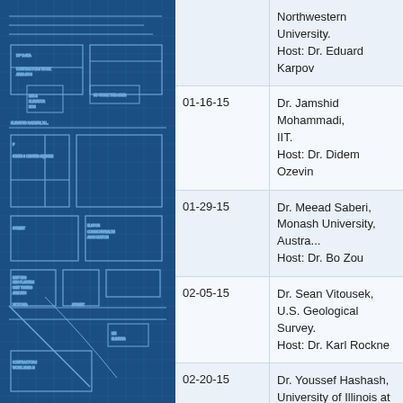[Figure (engineering-diagram): Blueprint engineering/architectural floor plan diagram with white lines on dark blue background]
| Date | Speaker / Host |
| --- | --- |
|  | Northwestern University.
Host: Dr. Eduard Karpov |
| 01-16-15 | Dr. Jamshid Mohammadi, IIT.
Host: Dr. Didem Ozevin |
| 01-29-15 | Dr. Meead Saberi, Monash University, Austra...
Host: Dr. Bo Zou |
| 02-05-15 | Dr. Sean Vitousek, U.S. Geological Survey.
Host: Dr. Karl Rockne |
| 02-20-15 | Dr. Youssef Hashash, University of Illinois at Urb... Champaign (UIUC). |